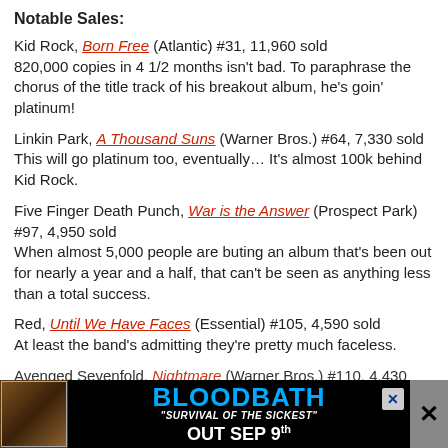Notable Sales:
Kid Rock, Born Free (Atlantic) #31, 11,960 sold
820,000 copies in 4 1/2 months isn't bad. To paraphrase the chorus of the title track of his breakout album, he's goin' platinum!
Linkin Park, A Thousand Suns (Warner Bros.) #64, 7,330 sold
This will go platinum too, eventually… It's almost 100k behind Kid Rock.
Five Finger Death Punch, War is the Answer (Prospect Park) #97, 4,950 sold
When almost 5,000 people are buting an album that's been out for nearly a year and a half, that can't be seen as anything less than a total success.
Red, Until We Have Faces (Essential) #105, 4,590 sold
At least the band's admitting they're pretty much faceless.
Avenged Sevenfold, Nightmare (Warner Bros.) #110, 4,430 sold
Mike Portnoy leaving hasn't had any effect on the band's sales – next week, it'll go gold.
Children of Bodom ... (m) #114, 4,... 
The Finnish metalers' late release drops down numbers by 72...
[Figure (infographic): Bloodbath album advertisement banner: black background with blue text BLOODBATH, subtitle Survival of the Sickest, OUT SEP 9th, album art on left, X close button on right]